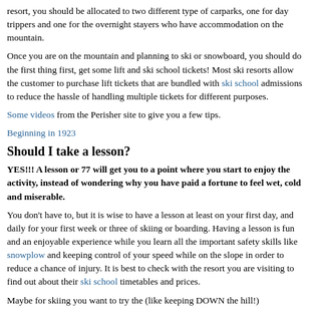resort, you should be allocated to two different type of carparks, one for day trippers and one for the overnight stayers who have accommodation on the mountain.
Once you are on the mountain and planning to ski or snowboard, you should do the first thing first, get some lift and ski school tickets! Most ski resorts allow the customer to purchase lift tickets that are bundled with ski school admissions to reduce the hassle of handling multiple tickets for different purposes.
Some videos from the Perisher site to give you a few tips.
Beginning in 1923
Should I take a lesson?
YES!!! A lesson or 77 will get you to a point where you start to enjoy the activity, instead of wondering why you have paid a fortune to feel wet, cold and miserable.
You don't have to, but it is wise to have a lesson at least on your first day, and daily for your first week or three of skiing or boarding. Having a lesson is fun and an enjoyable experience while you learn all the important safety skills like snowplow and keeping control of your speed while on the slope in order to reduce a chance of injury. It is best to check with the resort you are visiting to find out about their ski school timetables and prices.
Maybe for skiing you want to try the (like keeping DOWN the hill!)